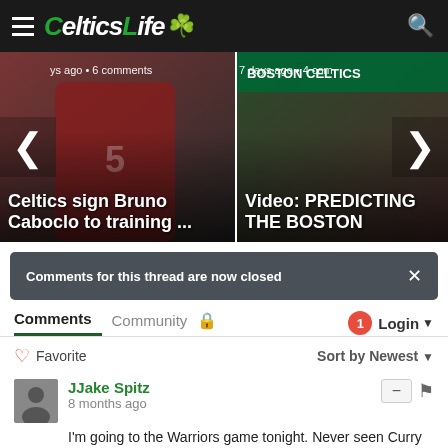CelticsLife
[Figure (screenshot): Carousel card showing Bruno Caboclo in Rockets uniform with overlay text 'Celtics sign Bruno Caboclo to training ...' and meta '...ys ago • 6 comments']
[Figure (screenshot): Carousel card showing Boston Celtics branded content with overlay text 'Video: PREDICTING THE BOSTON' and meta '7 days ago • 4 com']
Comments for this thread are now closed
Comments  Community  🔒  1  Login
♡ Favorite   Sort by Newest ▾
JJake Spitz
8 months ago
I'm going to the Warriors game tonight. Never seen Curry play, looking forward to it.